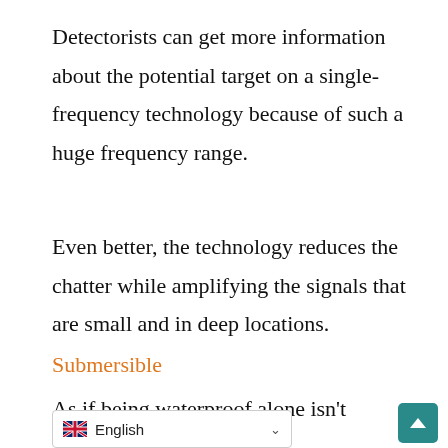Detectorists can get more information about the potential target on a single-frequency technology because of such a huge frequency range.
Even better, the technology reduces the chatter while amplifying the signals that are small and in deep locations.
Submersible
As if being waterproof alone isn't